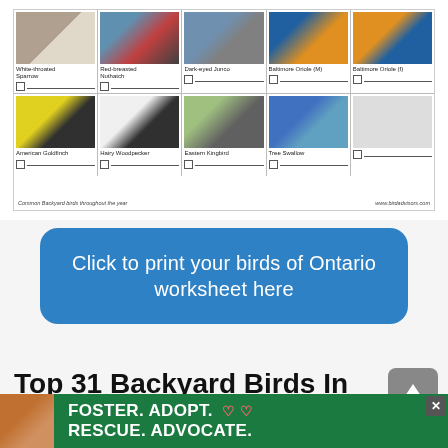[Figure (other): A bird identification worksheet showing two rows of bird photos. Top row: White-throated Sparrow, Red-breasted Nuthatch, Dark-eyed Junco, Baltimore Oriole (M), Baltimore Oriole (f). Bottom row: American Goldfinch, Hairy Woodpecker, Eastern Kingbird, Tree Swallow. Each cell has a checkbox and line beneath the photo. Footer text reads 'Common Backyard birds throughout the year' and 'www.birdadvisors.com'.]
Click to print your birds of Ontario worksheet here
Top 31 Backyard Birds In Ontario
[Figure (photo): Advertisement banner: green background with a dog photo on left, text 'FOSTER. ADOPT. RESCUE. ADVOCATE.' in white bold lettering with heart symbols. Close button (X) in upper right.]